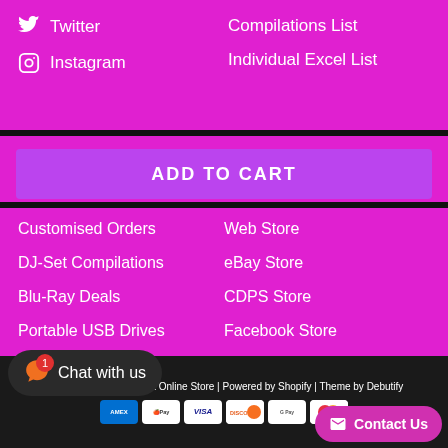Twitter
Instagram
Compilations List
Individual Excel List
ADD TO CART
Customised Orders
DJ-Set Compilations
Blu-Ray Deals
Portable USB Drives
Portable Hard Drives
Web Store
eBay Store
CDPS Store
Facebook Store
Copyright © 2022 DJ-Set Online Store | Powered by Shopify | Theme by Debutify
[Figure (logo): Payment method icons: Amex, Apple Pay, Visa, Discover, Google Pay, Mastercard]
Chat with us
Contact Us